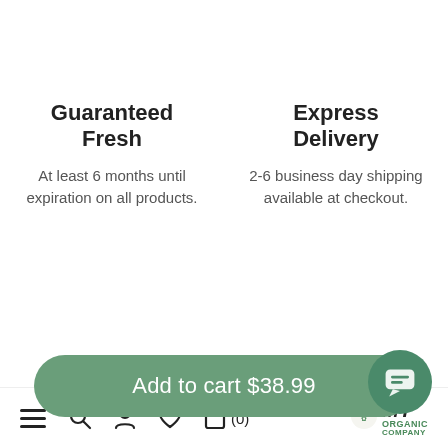Guaranteed Fresh
At least 6 months until expiration on all products.
Express Delivery
2-6 business day shipping available at checkout.
Add to cart $38.99
supply. Cancel anytime.
important this is to...
(0)